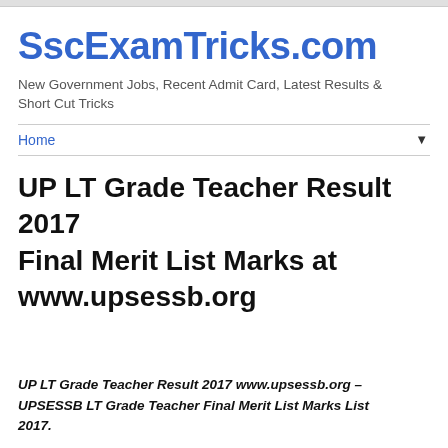SscExamTricks.com
New Government Jobs, Recent Admit Card, Latest Results & Short Cut Tricks
Home ▼
UP LT Grade Teacher Result 2017 Final Merit List Marks at www.upsessb.org
UP LT Grade Teacher Result 2017 www.upsessb.org – UPSESSB LT Grade Teacher Final Merit List Marks List 2017.